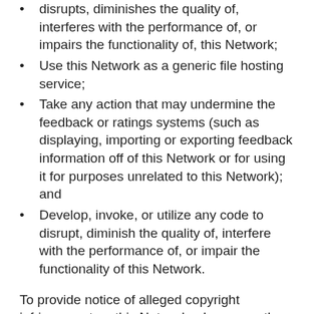disrupts, diminishes the quality of, interferes with the performance of, or impairs the functionality of, this Network;
Use this Network as a generic file hosting service;
Take any action that may undermine the feedback or ratings systems (such as displaying, importing or exporting feedback information off of this Network or for using it for purposes unrelated to this Network); and
Develop, invoke, or utilize any code to disrupt, diminish the quality of, interfere with the performance of, or impair the functionality of this Network.
To provide notice of alleged copyright infringement on this Network, please see the DMCA Notification Guidelines.
You agree not to authorize or encourage any third party to use this Network to facilitate any of the foregoing prohibited conduct. You also agree that these Network Terms of Service